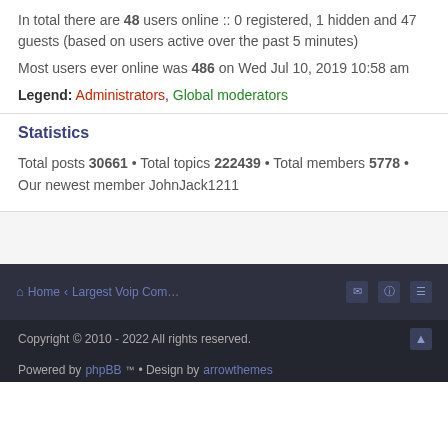In total there are 48 users online :: 0 registered, 1 hidden and 47 guests (based on users active over the past 5 minutes)
Most users ever online was 486 on Wed Jul 10, 2019 10:58 am
Legend: Administrators, Global moderators
Statistics
Total posts 30661 • Total topics 222439 • Total members 5778 • Our newest member JohnJack1211
Home • Largest Voip Com...
Copyright © 2010 - 2022 All rights reserved.
Powered by [phpBB]™ • Design by [link]